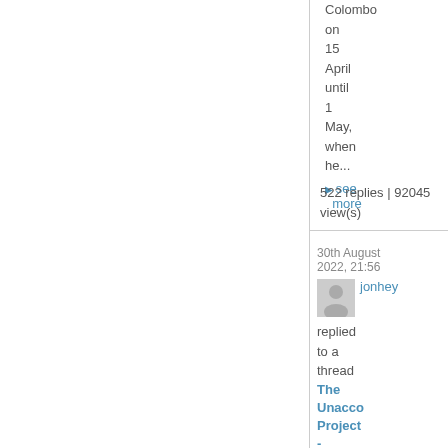Colombo on 15 April until 1 May, when he...
▶ see more
522 replies | 92045 view(s)
30th August 2022, 21:56
jonhey replied to a thread The Unacco Project - Final Stretch Update by